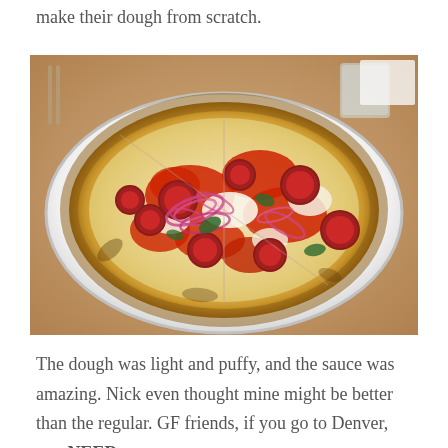make their dough from scratch.
[Figure (photo): A pepperoni pizza with red onions, basil, and melted mozzarella cheese on a white plate, viewed from close up on a restaurant table.]
The dough was light and puffy, and the sauce was amazing. Nick even thought mine might be better than the regular. GF friends, if you go to Denver, you NEED to